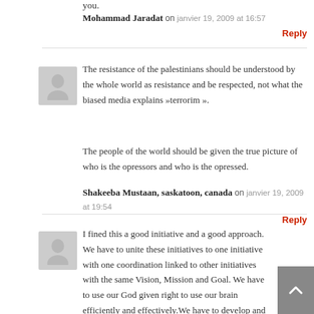you.
Mohammad Jaradat on janvier 19, 2009 at 16:57
Reply
The resistance of the palestinians should be understood by the whole world as resistance and be respected, not what the biased media explains »terrorim ».
The people of the world should be given the true picture of who is the opressors and who is the opressed.
Shakeeba Mustaan, saskatoon, canada on janvier 19, 2009 at 19:54
Reply
I fined this a good initiative and a good approach. We have to unite these initiatives to one initiative with one coordination linked to other initiatives with the same Vision, Mission and Goal. We have to use our God given right to use our brain efficiently and effectively.We have to develop and unify our selves